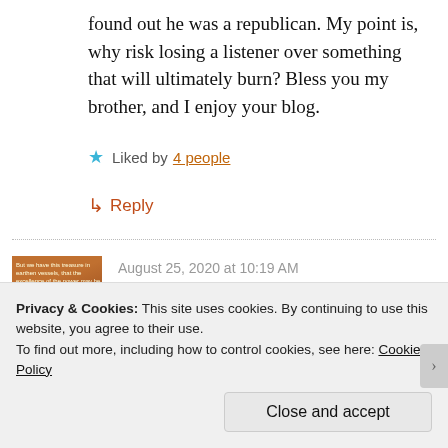found out he was a republican. My point is, why risk losing a listener over something that will ultimately burn? Bless you my brother, and I enjoy your blog.
★ Liked by 4 people
↳ Reply
August 25, 2020 at 10:19 AM
Thank you for stating the truth! I was
Privacy & Cookies: This site uses cookies. By continuing to use this website, you agree to their use. To find out more, including how to control cookies, see here: Cookie Policy
Close and accept